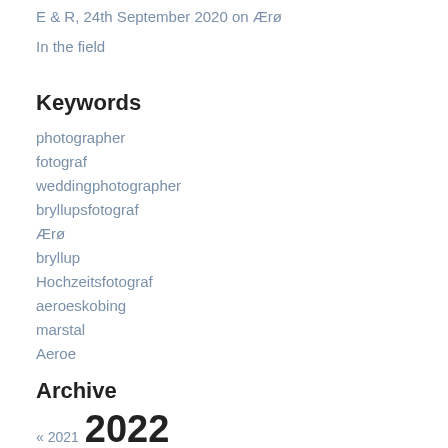E & R, 24th September 2020 on Ærø
In the field
Keywords
photographer
fotograf
weddingphotographer
bryllupsfotograf
Ærø
bryllup
Hochzeitsfotograf
aeroeskobing
marstal
Aeroe
Archive
« 2021  2022
January
February
March